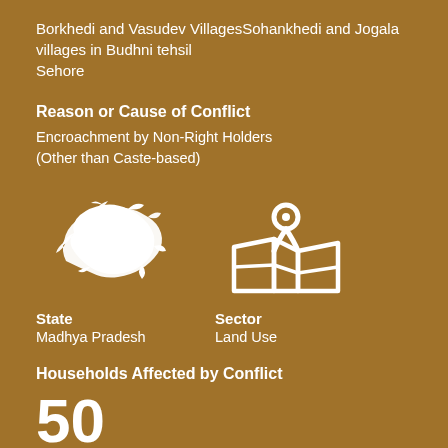Borkhedi and Vasudev VillagesSohankhedi and Jogala villages in Budhni tehsil Sehore
Reason or Cause of Conflict
Encroachment by Non-Right Holders (Other than Caste-based)
[Figure (illustration): White silhouette icon of Madhya Pradesh state map]
[Figure (illustration): White icon of a map with location pin]
State
Madhya Pradesh
Sector
Land Use
Households Affected by Conflict
50
Land Area Affected (in Hectares)